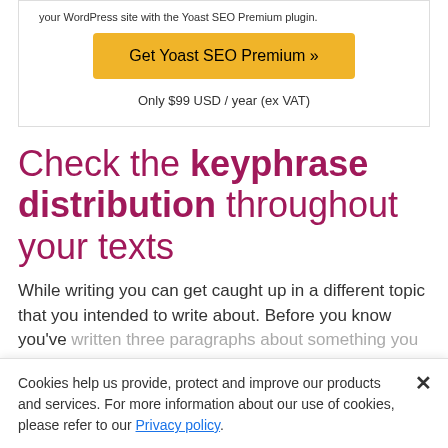[Figure (screenshot): Yoast SEO Premium promotional box with orange button 'Get Yoast SEO Premium »' and price text 'Only $99 USD / year (ex VAT)']
Check the keyphrase distribution throughout your texts
While writing you can get caught up in a different topic that you intended to write about. Before you know you've written three paragraphs about something you weren't planning to write about...
Cookies help us provide, protect and improve our products and services. For more information about our use of cookies, please refer to our Privacy policy.